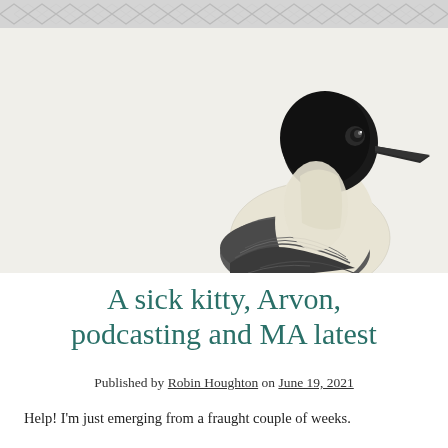[Figure (illustration): Vintage illustration of a seagull (black-headed gull) with a black head, white and cream body, and dark wing markings, shown in profile against a light beige/cream background]
A sick kitty, Arvon, podcasting and MA latest
Published by Robin Houghton on June 19, 2021
Help! I'm just emerging from a fraught couple of weeks. To read more, next Robin added he had a her